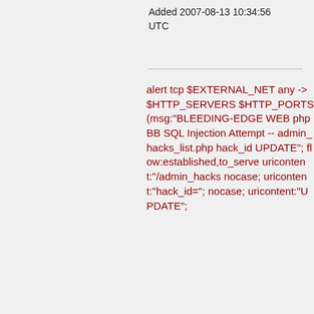Added 2007-08-13 10:34:56 UTC
alert tcp $EXTERNAL_NET any -> $HTTP_SERVERS $HTTP_PORTS (msg:"BLEEDING-EDGE WEB phpBB SQL Injection Attempt -- admin_hacks_list.php hack_id UPDATE"; flow:established,to_server; uricontent:"/admin_hacks nocase; uricontent:"hack_id="; nocase; uricontent:"UPDATE";